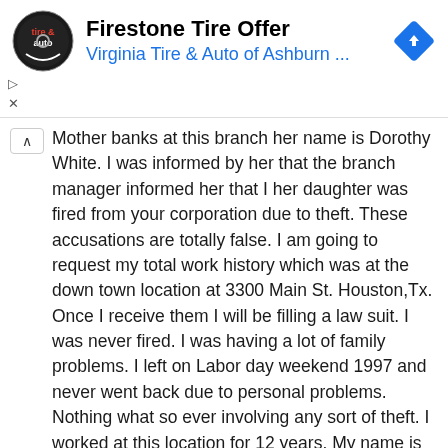[Figure (other): Advertisement banner for Firestone Tire Offer by Virginia Tire & Auto of Ashburn. Contains logo (circular tire & auto logo), ad title 'Firestone Tire Offer', subtitle 'Virginia Tire & Auto of Ashburn ...', and a blue navigation arrow diamond icon. Play and close control buttons on the left.]
Mother banks at this branch her name is Dorothy White. I was informed by her that the branch manager informed her that I her daughter was fired from your corporation due to theft. These accusations are totally false. I am going to request my total work history which was at the down town location at 3300 Main St. Houston,Tx. Once I receive them I will be filling a law suit. I was never fired. I was having a lot of family problems. I left on Labor day weekend 1997 and never went back due to personal problems. Nothing what so ever involving any sort of theft. I worked at this location for 12 years. My name is Linda Morace. If these allegations of this woman stating these character damaging statements against anyone are true. She needs to loose her and I don't care if she is the President.